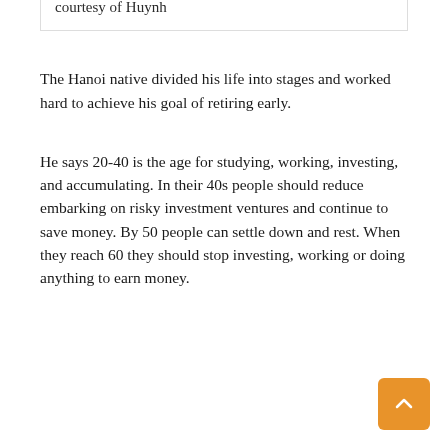[Figure (photo): Lotus leaves and flowers in a rooftop garden. Large green lily pads fill the frame with white-pink lotus flowers visible.]
Nguyen Van Huynh in the 300-square-meter garden on the roof of his house in HCMC's District 12. Photo courtesy of Huynh
The Hanoi native divided his life into stages and worked hard to achieve his goal of retiring early.
He says 20-40 is the age for studying, working, investing, and accumulating. In their 40s people should reduce embarking on risky investment ventures and continue to save money. By 50 people can settle down and rest. When they reach 60 they should stop investing, working or doing anything to earn money.